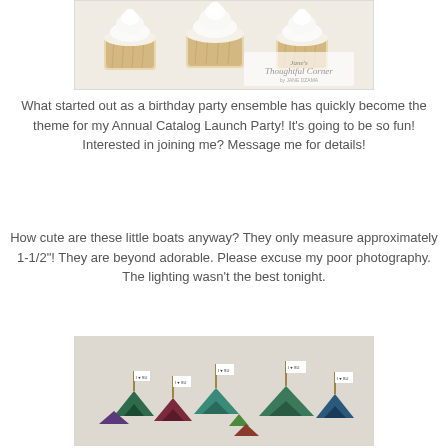[Figure (photo): Three vanilla cupcakes with white frosting on a light background, with a decorative script logo overlay reading 'Jane's Thoughtful Corner by JANE DZAMA']
What started out as a birthday party ensemble has quickly become the theme for my Annual Catalog Launch Party!  It's going to be so fun!  Interested in joining me?  Message me for details!
How cute are these little boats anyway?  They only measure approximately 1-1/2"!  They are beyond adorable.  Please excuse my poor photography.  The lighting wasn't the best tonight.
[Figure (photo): Small origami paper boats measuring approximately 1-1/2 inches, made from colorful patterned paper with small flag toppers, arranged together on a light surface]